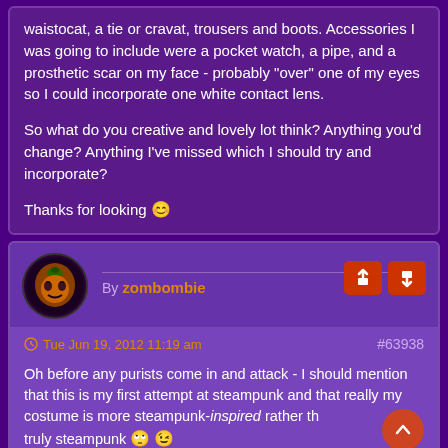waistocat, a tie or cravat, trousers and boots. Accessories I was going to include were a pocket watch, a pipe, and a prosthetic scar on my face - probably "over" one of my eyes so I could incorporate one white contact lens.
So what do you creative and lovely lot think? Anything you'd change? Anything I've missed which I should try and incorporate?
Thanks for looking 😊
By zombombie
Tue Jun 19, 2012 11:19 am  #63938
Oh before any purists come in and attack - I should mention that this is my first attempt at steampunk and that really my costume is more steampunk-inspired rather than truly steampunk 🙄 😉